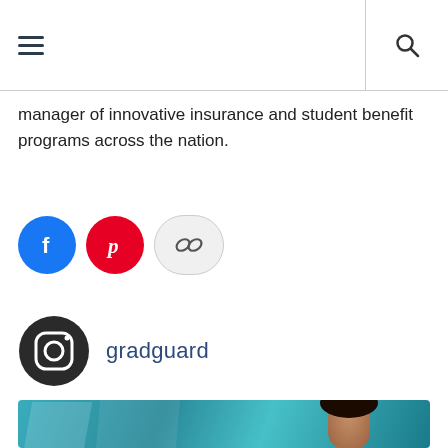Navigation header with hamburger menu and search icon
manager of innovative insurance and student benefit programs across the nation.
[Figure (infographic): Social media share buttons: Facebook (blue circle with f), Pinterest (red circle with p), and a link/copy icon (light gray circle)]
[Figure (logo): Instagram icon (dark circle with camera outline) followed by text 'gradguard' in dark blue]
[Figure (photo): Photo of a smiling young woman with curly hair in an updo, wearing a white top with red accent, standing in front of a glass building with other students in the background]